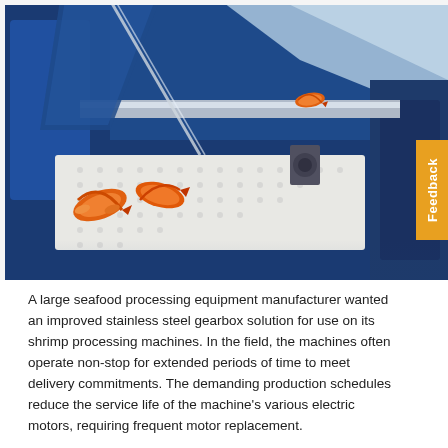[Figure (photo): Industrial shrimp processing machine with blue metallic frame and conveyor belt, shrimp visible on white perforated conveyor belt, machinery with stainless steel components and blue housing. A yellow 'Feedback' tab appears on the right side.]
A large seafood processing equipment manufacturer wanted an improved stainless steel gearbox solution for use on its shrimp processing machines. In the field, the machines often operate non-stop for extended periods of time to meet delivery commitments. The demanding production schedules reduce the service life of the machine's various electric motors, requiring frequent motor replacement.
Under these tough conditions, fretting on the machine's motor